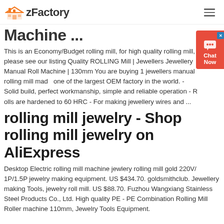zFactory
Machine ...
This is an Economy/Budget rolling mill, for high quality rolling mill, please see our listing Quality ROLLING Mill | Jewellers Jewellery Manual Roll Machine | 130mm You are buying 1 jewellers manual rolling mill made one of the largest OEM factory in the world. - Solid build, perfect workmanship, simple and reliable operation - R olls are hardened to 60 HRC - For making jewellery wires and ...
rolling mill jewelry - Shop rolling mill jewelry on AliExpress
Desktop Electric rolling mill machine jewlery rolling mill gold 220V/ 1P/1.5P jewelry making equipment. US $434.70. goldsmithclub. Jewellery making Tools, jewelry roll mill. US $88.70. Fuzhou Wangxiang Stainless Steel Products Co., Ltd. High quality PE - PE Combination Rolling Mill Roller machine 110mm, Jewelry Tools Equipment.